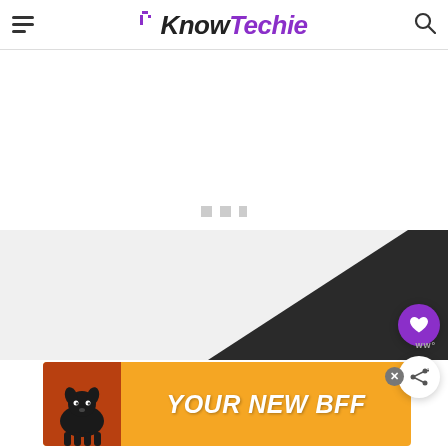KnowTechie
[Figure (screenshot): KnowTechie website header with hamburger menu, logo, and search icon]
[Figure (screenshot): Ad placeholder area with loading dots (three gray squares)]
[Figure (photo): Dark wedge-shaped device (appears to be a speaker or tech device) visible at bottom of page]
[Figure (infographic): Orange advertisement banner with dog image and text YOUR NEW BFF with X close button]
ww°